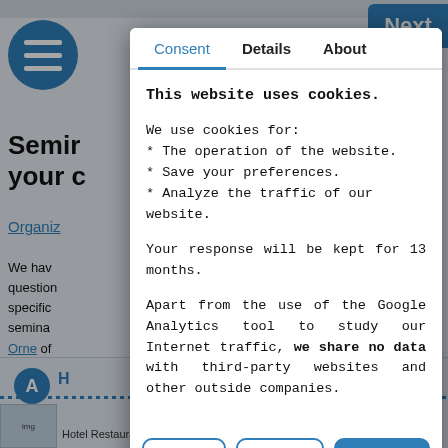[Figure (screenshot): Background webpage screenshot showing a seminar registration page with blue hamburger menu icon, navigation tabs (Consent, Details, About), and partial page text in French about organization and seminars. A cookie consent modal dialog is overlaid on top.]
Consent | Details | About
This website uses cookies.
We use cookies for:
* The operation of the website.
* Save your preferences.
* Analyze the traffic of our website.

Your response will be kept for 13 months.

Apart from the use of the Google Analytics tool to study our Internet traffic, we share no data with third-party websites and other outside companies.
Decline
Allow selection
Allow everything